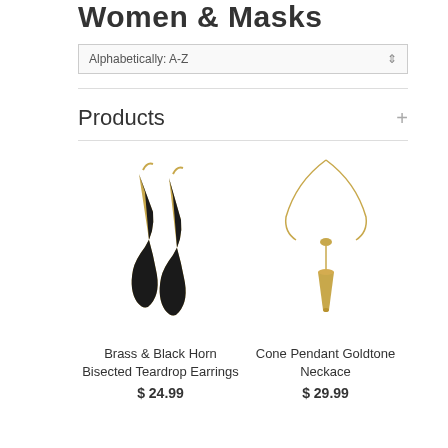Women & Masks
Alphabetically: A-Z
Products
[Figure (photo): Brass & Black Horn Bisected Teardrop Earrings - gold and black teardrop shaped earrings]
Brass & Black Horn Bisected Teardrop Earrings
$ 24.99
[Figure (photo): Cone Pendant Goldtone Necklace - gold cone pendant on a thin gold chain]
Cone Pendant Goldtone Neckace
$ 29.99